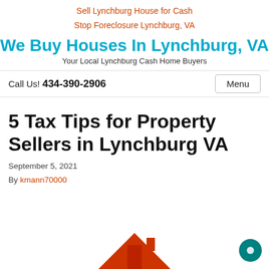Sell Lynchburg House for Cash
Stop Foreclosure Lynchburg, VA
We Buy Houses In Lynchburg, VA
Your Local Lynchburg Cash Home Buyers
Call Us! 434-390-2906
5 Tax Tips for Property Sellers in Lynchburg VA
September 5, 2021
By kmann70000
[Figure (illustration): Partial house illustration (rooftop/chimney in orange/red) visible at the bottom of the page]